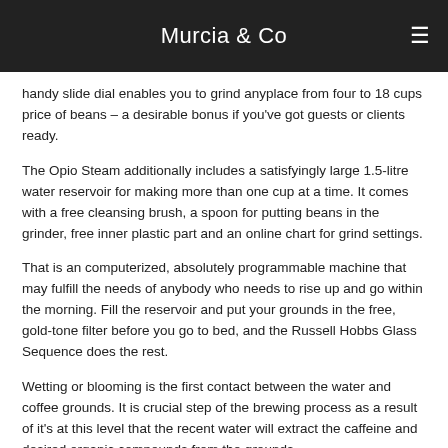Murcia & Co
handy slide dial enables you to grind anyplace from four to 18 cups price of beans – a desirable bonus if you've got guests or clients ready.
The Opio Steam additionally includes a satisfyingly large 1.5-litre water reservoir for making more than one cup at a time. It comes with a free cleansing brush, a spoon for putting beans in the grinder, free inner plastic part and an online chart for grind settings.
That is an computerized, absolutely programmable machine that may fulfill the needs of anybody who needs to rise up and go within the morning. Fill the reservoir and put your grounds in the free, gold-tone filter before you go to bed, and the Russell Hobbs Glass Sequence does the rest.
Wetting or blooming is the first contact between the water and coffee grounds. It is crucial step of the brewing process as a result of it's at this level that the recent water will extract the caffeine and desired organic compounds from the grounds.
This family-run coffee store in Fermoy is a well-liked assembly place serving locally roasted specialty espresso from Badger Dodo.